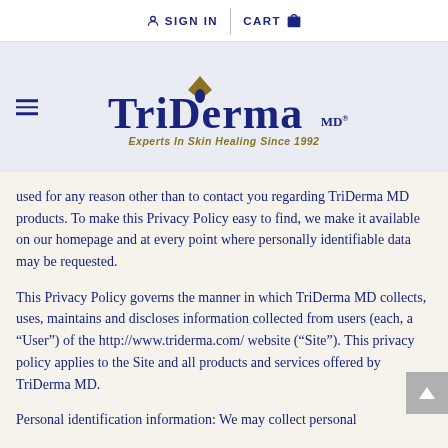SIGN IN  CART
[Figure (logo): TriDerma MD logo with tagline 'Experts In Skin Healing Since 1992']
used for any reason other than to contact you regarding TriDerma MD products. To make this Privacy Policy easy to find, we make it available on our homepage and at every point where personally identifiable data may be requested.
This Privacy Policy governs the manner in which TriDerma MD collects, uses, maintains and discloses information collected from users (each, a “User”) of the http://www.triderma.com/ website (“Site”). This privacy policy applies to the Site and all products and services offered by TriDerma MD.
Personal identification information: We may collect personal